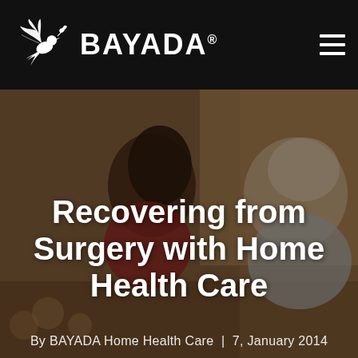[Figure (logo): BAYADA logo with dove/bird graphic and BAYADA text in white on black header bar]
[Figure (photo): Two people sitting on a couch and laughing together — a younger woman with long dark hair in a red top and an older person in a light blue shirt, in a home setting with floral furniture]
Recovering from Surgery with Home Health Care
By BAYADA Home Health Care  |  7, January 2014